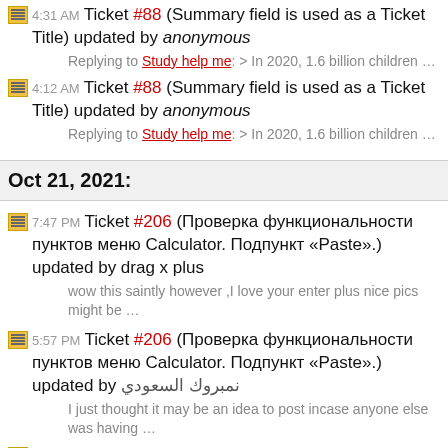4:31 AM Ticket #88 (Summary field is used as a Ticket Title) updated by anonymous
Replying to Study help me: > In 2020, 1.6 billion children …
4:12 AM Ticket #88 (Summary field is used as a Ticket Title) updated by anonymous
Replying to Study help me: > In 2020, 1.6 billion children …
Oct 21, 2021:
7:47 PM Ticket #206 (Проверка функциональности пунктов меню Calculator. Подпункт «Paste».) updated by drag x plus
wow this saintly however ,I love your enter plus nice pics might be …
5:57 PM Ticket #206 (Проверка функциональности пунктов меню Calculator. Подпункт «Paste».) updated by نمبروك السعودي
I just thought it may be an idea to post incase anyone else was having …
4:36 PM Ticket #175 (Biden promised Covid-19 vaccines…